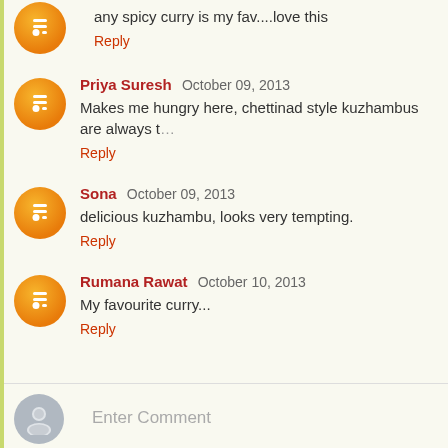any spicy curry is my fav....love this
Reply
Priya Suresh  October 09, 2013
Makes me hungry here, chettinad style kuzhambus are always t…
Reply
Sona  October 09, 2013
delicious kuzhambu, looks very tempting.
Reply
Rumana Rawat  October 10, 2013
My favourite curry...
Reply
Enter Comment